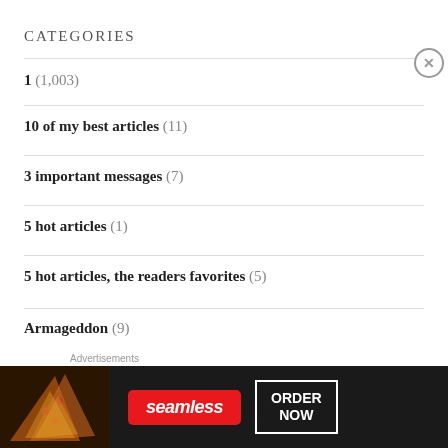CATEGORIES
1 (1,003)
10 of my best articles (11)
3 important messages (7)
5 hot articles (1)
5 hot articles, the readers favorites (5)
Armageddon (9)
[Figure (other): Seamless food delivery advertisement banner with pizza image, Seamless logo, and ORDER NOW button]